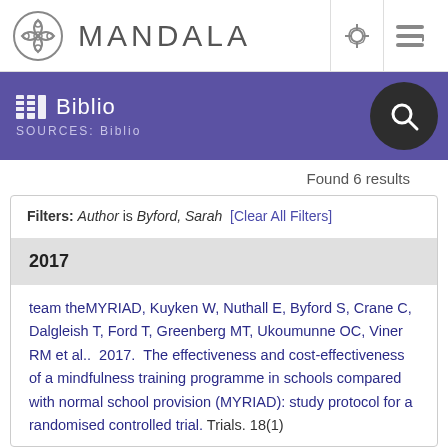MANDALA
Biblio
SOURCES: Biblio
Found 6 results
Filters: Author is Byford, Sarah [Clear All Filters]
2017
team theMYRIAD, Kuyken W, Nuthall E, Byford S, Crane C, Dalgleish T, Ford T, Greenberg MT, Ukoumunne OC, Viner RM et al.. 2017. The effectiveness and cost-effectiveness of a mindfulness training programme in schools compared with normal school provision (MYRIAD): study protocol for a randomised controlled trial. Trials. 18(1)